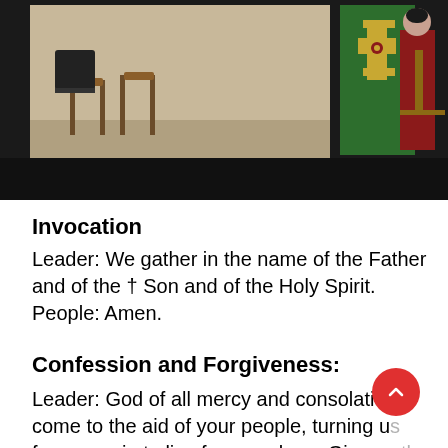[Figure (photo): Church interior photo showing a green liturgical banner with a cross, wooden stools and chairs, and a person standing to the right side. Black bar at bottom of image.]
Invocation
Leader: We gather in the name of the Father and of the † Son and of the Holy Spirit. People: Amen.
Confession and Forgiveness:
Leader: God of all mercy and consolation, come to the aid of your people, turning us from our sin to live for you alone. Give us the power of your Holy Spirit that, attentive to